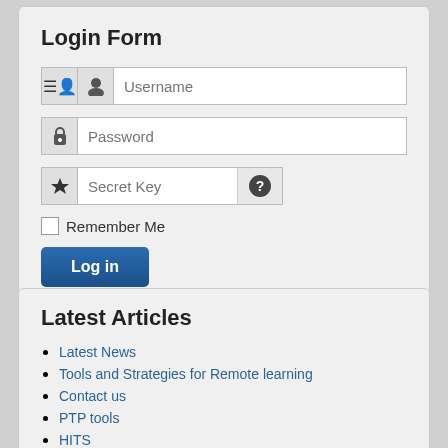Login Form
[Figure (screenshot): Login form with Username, Password, Secret Key fields, Remember Me checkbox, Log in button, and forgot links]
Forgot your username?
Forgot your password?
Latest Articles
Latest News
Tools and Strategies for Remote learning
Contact us
PTP tools
HITS